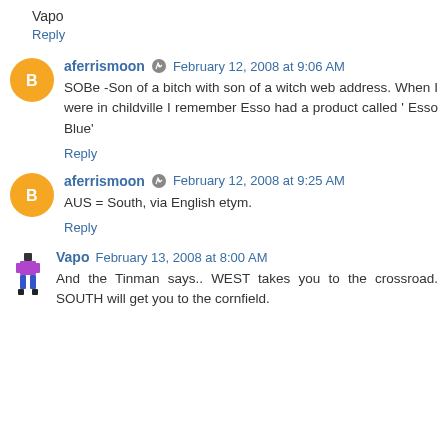Vapo
Reply
aferrismoon  February 12, 2008 at 9:06 AM
SOBe -Son of a bitch with son of a witch web address. When I were in childville I remember Esso had a product called ' Esso Blue'
Reply
aferrismoon  February 12, 2008 at 9:25 AM
AUS = South, via English etym.
Reply
Vapo  February 13, 2008 at 8:00 AM
And the Tinman says.. WEST takes you to the crossroad. SOUTH will get you to the cornfield.